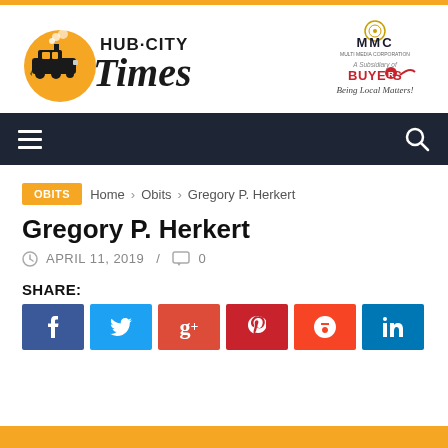[Figure (logo): Hub-City Times newspaper logo with train illustration and HUB·CITY TIMES text]
[Figure (logo): MMC / A Subsidiary of BUYERS logo with 'Being Local Matters!' tagline]
[Figure (other): Dark navigation bar with hamburger menu icon and search icon]
OBITS  Home › Obits › Gregory P. Herkert
Gregory P. Herkert
APRIL 11, 2019 / 0
SHARE:
[Figure (other): Six social sharing buttons: Facebook (blue), Twitter (light blue), Google+ (red), Pinterest (dark red), StumbleUpon (orange-red), LinkedIn (teal-blue)]